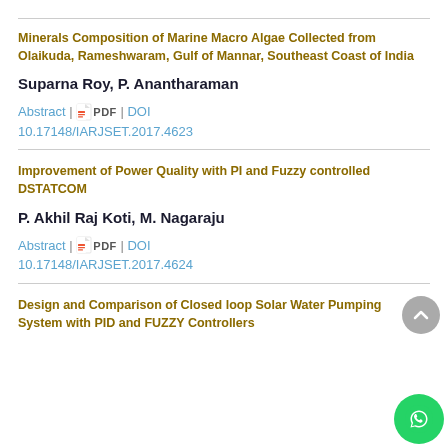Minerals Composition of Marine Macro Algae Collected from Olaikuda, Rameshwaram, Gulf of Mannar, Southeast Coast of India
Suparna Roy, P. Anantharaman
Abstract | PDF | DOI 10.17148/IARJSET.2017.4623
Improvement of Power Quality with PI and Fuzzy controlled DSTATCOM
P. Akhil Raj Koti, M. Nagaraju
Abstract | PDF | DOI 10.17148/IARJSET.2017.4624
Design and Comparison of Closed loop Solar Water Pumping System with PID and FUZZY Controllers